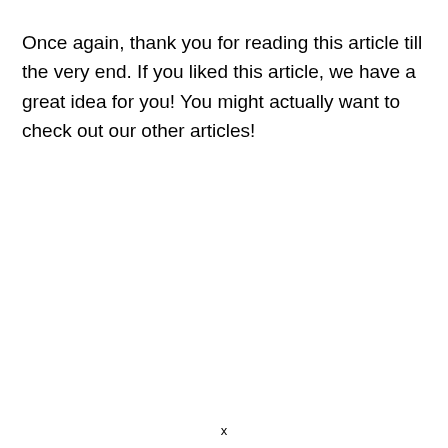Once again, thank you for reading this article till the very end. If you liked this article, we have a great idea for you! You might actually want to check out our other articles!
x